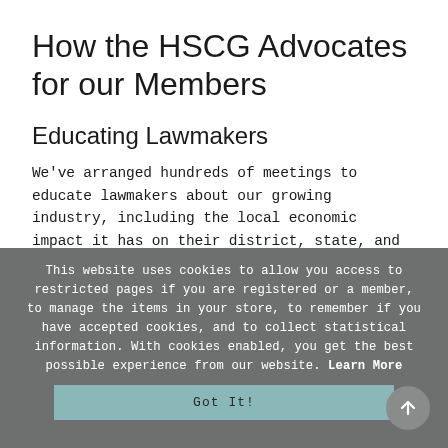How the HSCG Advocates for our Members
Educating Lawmakers
We've arranged hundreds of meetings to educate lawmakers about our growing industry, including the local economic impact it has on their district, state, and region. Regular discussions with U.S. Senators and Representatives have helped establish the HSCG as an important stakeholder in legislative action.
This website uses cookies to allow you access to restricted pages if you are registered or a member, to manage the items in your store, to remember if you have accepted cookies, and to collect statistical information. With cookies enabled, you get the best possible experience from our website. Learn More
Got It!